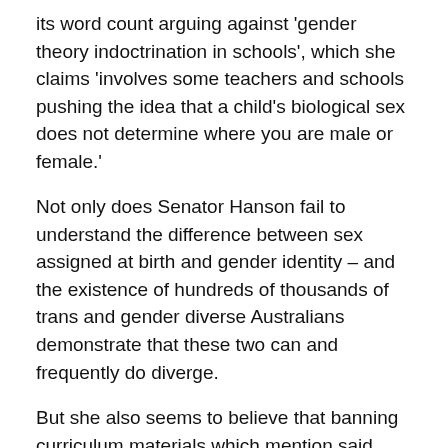its word count arguing against 'gender theory indoctrination in schools', which she claims 'involves some teachers and schools pushing the idea that a child's biological sex does not determine where you are male or female.'
Not only does Senator Hanson fail to understand the difference between sex assigned at birth and gender identity – and the existence of hundreds of thousands of trans and gender diverse Australians demonstrate that these two can and frequently do diverge.
But she also seems to believe that banning curriculum materials which mention said reality of gender diversity will somehow prevent children from becoming trans or non-binary in the first place (from the Second Reading Speech: 'The preoccupation with gender identity by some teachers